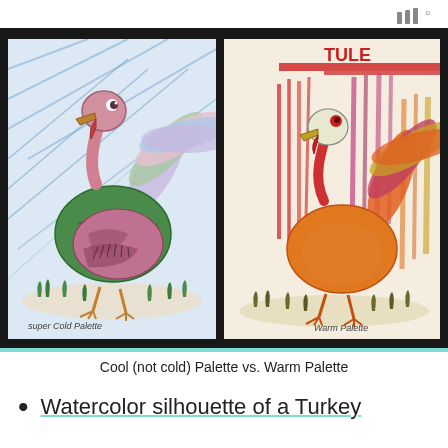|||°
[Figure (photo): Two children's turkey drawings side by side on dark background. Left drawing uses cool palette (blue background, green and pink/purple turkey) labeled 'super Cool Palette'. Right drawing uses warm palette (red, orange colors) labeled 'Warm Palette'.]
Cool (not cold) Palette vs. Warm Palette
Watercolor silhouette of a Turkey